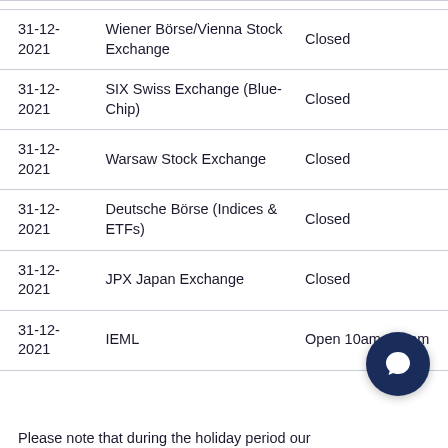| Date | Exchange | Status |
| --- | --- | --- |
| 31-12-2021 | Wiener Börse/Vienna Stock Exchange | Closed |
| 31-12-2021 | SIX Swiss Exchange (Blue-Chip) | Closed |
| 31-12-2021 | Warsaw Stock Exchange | Closed |
| 31-12-2021 | Deutsche Börse (Indices & ETFs) | Closed |
| 31-12-2021 | JPX Japan Exchange | Closed |
| 31-12-2021 | IEML | Open 10am to 5pm |
Please note that during the holiday period our